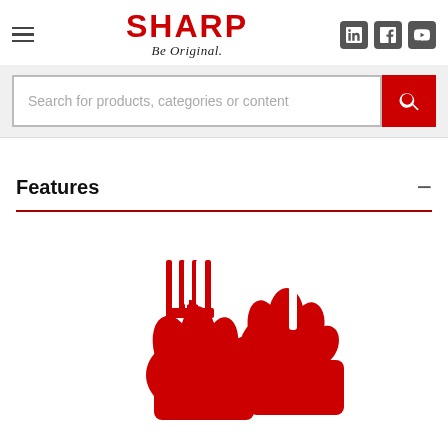SHARP — Be Original.
Search for products, categories or content
Features
[Figure (illustration): Red silhouette illustration of hands holding a fork and knife, partially visible at bottom of page, representing food or kitchen appliance context.]